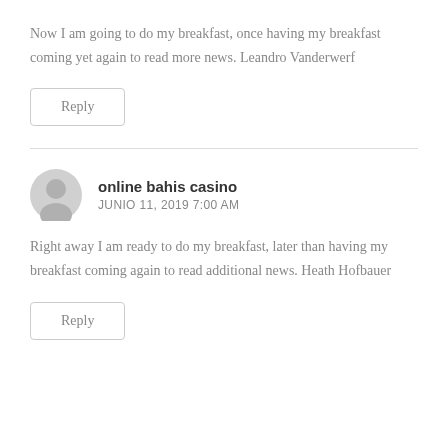Now I am going to do my breakfast, once having my breakfast coming yet again to read more news. Leandro Vanderwerf
Reply
online bahis casino
JUNIO 11, 2019 7:00 AM
Right away I am ready to do my breakfast, later than having my breakfast coming again to read additional news. Heath Hofbauer
Reply